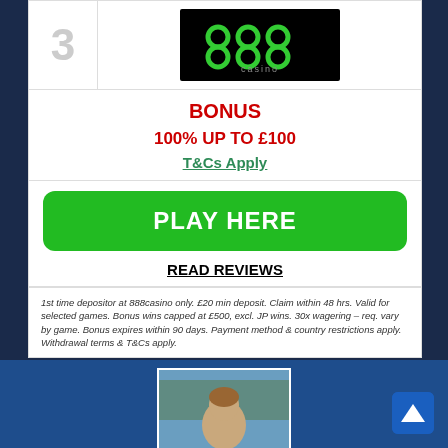3
[Figure (logo): 888 Casino logo — green 888 symbol on black background with 'casino' text]
BONUS
100% UP TO £100
T&Cs Apply
PLAY HERE
READ REVIEWS
1st time depositor at 888casino only. £20 min deposit. Claim within 48 hrs. Valid for selected games. Bonus wins capped at £500, excl. JP wins. 30x wagering – req. vary by game. Bonus expires within 90 days. Payment method & country restrictions apply. Withdrawal terms & T&Cs apply.
[Figure (photo): Partial photo of a person visible at the bottom of the page inside a blue section]